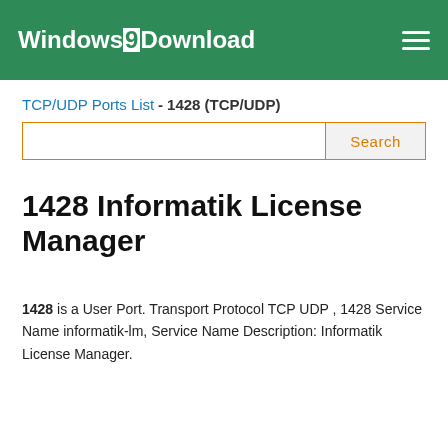Windows9Download
TCP/UDP Ports List - 1428 (TCP/UDP)
1428 Informatik License Manager
1428 is a User Port. Transport Protocol TCP UDP , 1428 Service Name informatik-lm, Service Name Description: Informatik License Manager.